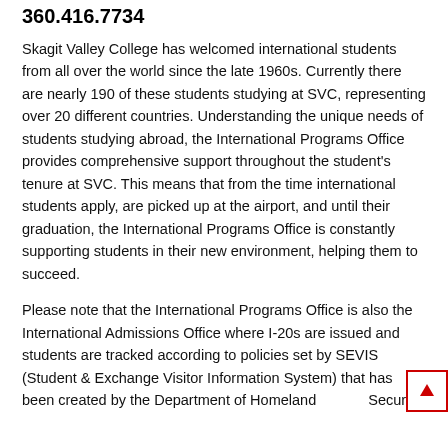360.416.7734
Skagit Valley College has welcomed international students from all over the world since the late 1960s. Currently there are nearly 190 of these students studying at SVC, representing over 20 different countries. Understanding the unique needs of students studying abroad, the International Programs Office provides comprehensive support throughout the student's tenure at SVC. This means that from the time international students apply, are picked up at the airport, and until their graduation, the International Programs Office is constantly supporting students in their new environment, helping them to succeed.
Please note that the International Programs Office is also the International Admissions Office where I-20s are issued and students are tracked according to policies set by SEVIS (Student & Exchange Visitor Information System) that has been created by the Department of Homeland Security.